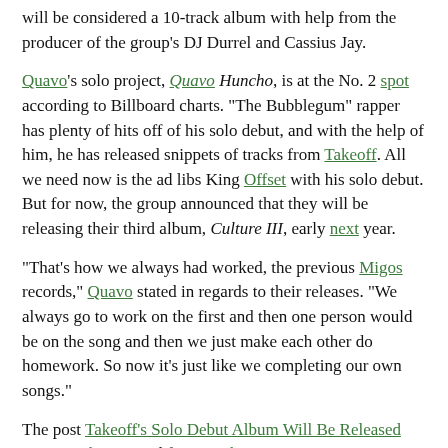will be considered a 10-track album with help from the producer of the group's DJ Durrel and Cassius Jay.
Quavo's solo project, Quavo Huncho, is at the No. 2 spot according to Billboard charts. "The Bubblegum" rapper has plenty of hits off of his solo debut, and with the help of him, he has released snippets of tracks from Takeoff. All we need now is the ad libs King Offset with his solo debut. But for now, the group announced that they will be releasing their third album, Culture III, early next year.
"That's how we always had worked, the previous Migos records," Quavo stated in regards to their releases. "We always go to work on the first and then one person would be on the song and then we just make each other do homework. So now it's just like we completing our own songs."
The post Takeoff's Solo Debut Album Will Be Released Next Week appeared first on The Source.